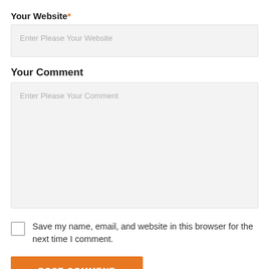Your Website*
[Figure (screenshot): Text input field with placeholder 'Enter Please Your Website']
Your Comment
[Figure (screenshot): Textarea with placeholder 'Enter Please Your Comment']
Save my name, email, and website in this browser for the next time I comment.
POST COMMENT